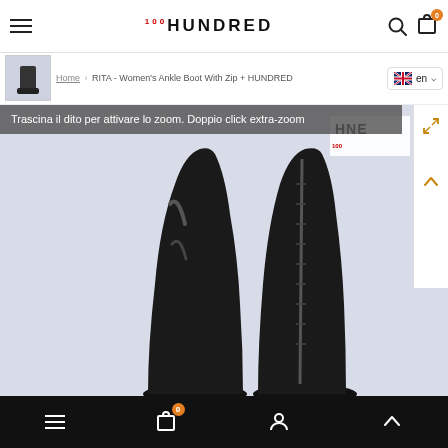HUNDRED - navigation bar with hamburger menu, logo, search and cart icons
Home > RITA - Women's Ankle Boot With Zip + HUNDRED
[Figure (photo): Close-up photograph of black leather women's ankle boots with zip, shown from behind against a light lavender/grey background. The boots are glossy black leather with a back zipper. The HUNDRED brand logo appears as a watermark overlay on the image. A tooltip bar reads: 'Trascina il dito per attivare lo zoom. Doppio click extra-zoom']
Trascina il dito per attivare lo zoom. Doppio click extra-zoom
Bottom navigation bar with hamburger, cart (0), user, and scroll-to-top icons